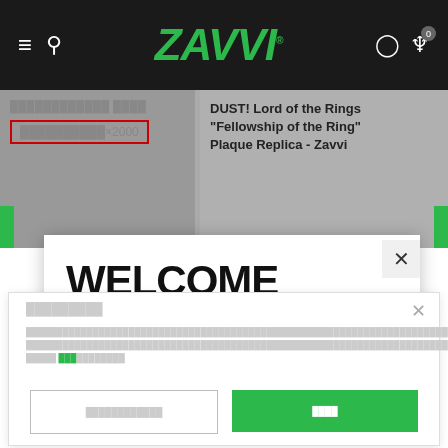[Figure (screenshot): Zavvi website navigation bar with green italic Zavvi logo, hamburger menu, search icon, user icon, and shopping cart with badge showing 0]
DUST! Lord of the Rings "Fellowship of the Ring" Plaque Replica - Zavvi
WELCOME
It looks like you are in the USA, would you like to see our US site with $USD currency?
█████████
████████████████████████████████████████████████████████████████████████████████████████████████████████████████████████████████████████████████████████████████████████████████████████████████████ █████ ███████████
█████████████████    ████